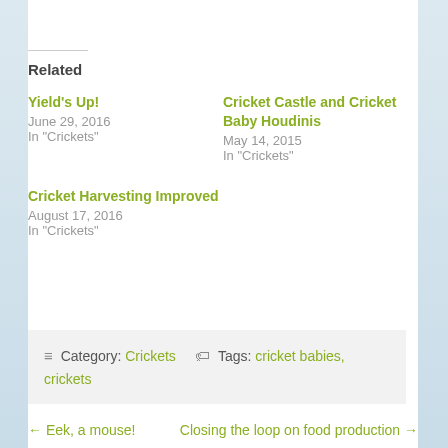Related
Yield's Up!
June 29, 2016
In "Crickets"
Cricket Castle and Cricket Baby Houdinis
May 14, 2015
In "Crickets"
Cricket Harvesting Improved
August 17, 2016
In "Crickets"
≡ Category: Crickets  🏷 Tags: cricket babies, crickets
← Eek, a mouse!    Closing the loop on food production →